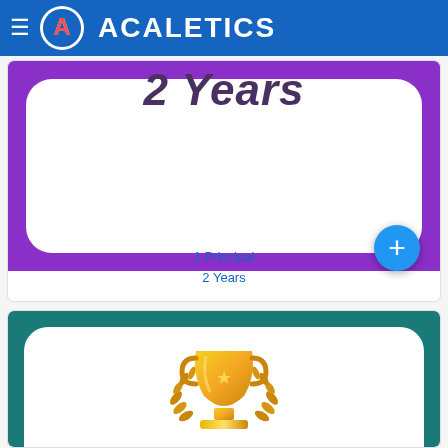ACALETICS
[Figure (screenshot): Purple rounded rectangle card showing '2 Years' text with a white inner area and a blue plus button in the bottom right corner]
1 Principal
2 Years
[Figure (illustration): Teal rounded rectangle card showing a gold trophy with laurel wreaths at the bottom]